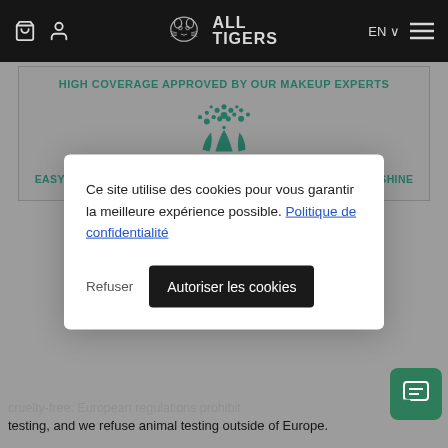ALL TIGERS — Navigation bar with cart, account icons, logo, EN language selector, and menu
HIGH COVERAGE APPROVED BY OUR MAKEUP EXPERTS
[Figure (illustration): Teal flower/plant decorative illustration icon]
EASY-MATTE FINISH THE IDEAL BALANCE BETWEEN MATTE & SHINE
Ce site utilise des cookies pour vous garantir la meilleure expérience possible. Politique de confidentialité
Refuser
Autoriser les cookies
cruelty-free: European regulations prohibit testing, and we refuse animal testing outside of Europe.